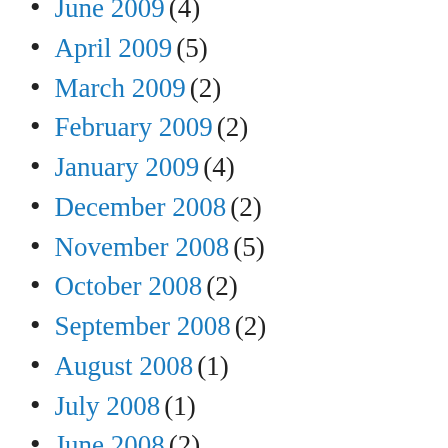June 2009 (4)
April 2009 (5)
March 2009 (2)
February 2009 (2)
January 2009 (4)
December 2008 (2)
November 2008 (5)
October 2008 (2)
September 2008 (2)
August 2008 (1)
July 2008 (1)
June 2008 (2)
May 2008 (5)
April 2008 (1)
February 2008 (2)
January 2008 (5)
December 2007 (4)